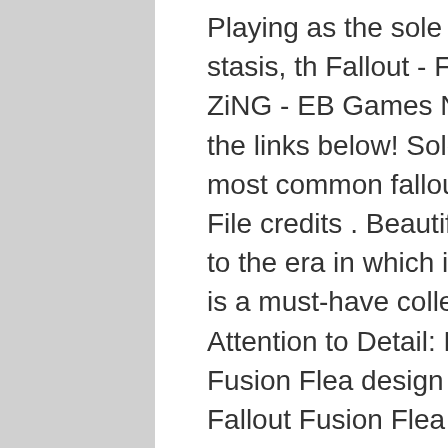Playing as the sole survivor of Vault 111 after a long stasis, th Fallout - Fusion Core 1/1 Prop Replica - ZiNG - EB Games New Zealand Unavailable . Check the links below! Sold Out View. 1 of 5 $48.00. The most common fallout power armor material is metal. File credits . Beautifully boxed in the vintage style true to the era in which it was conceived, the Fusion Flea is a must-have collectable replica for any Fallout fan. Attention to Detail: Each detail of Bethesda's natty Fusion Flea design has been carefully replicated. Fallout Fusion Flea Die-Cast Replica Car; Officially-licensed Fallout merchandise; From our friends at The Wand Company; A die-cast metal model of the three-wheeled nuclear microcar; A real Chryslus icon – display